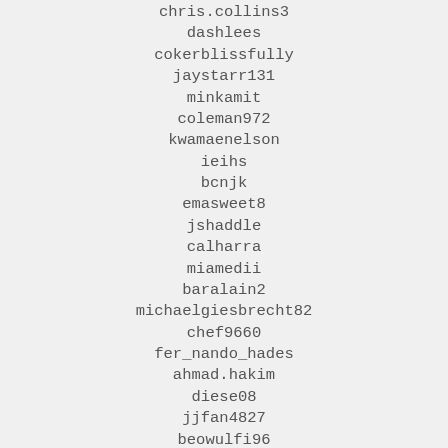chris.collins3
dashlees
cokerblissfully
jaystarr131
minkamit
coleman972
kwamaenelson
ieihs
bcnjk
emasweet8
jshaddle
calharra
miamedii
baralain2
michaelgiesbrecht82
chef9660
fer_nando_hades
ahmad.hakim
diese08
jjfan4827
beowulfi96
chrisdeherrera
marshspence
cedric.bescond